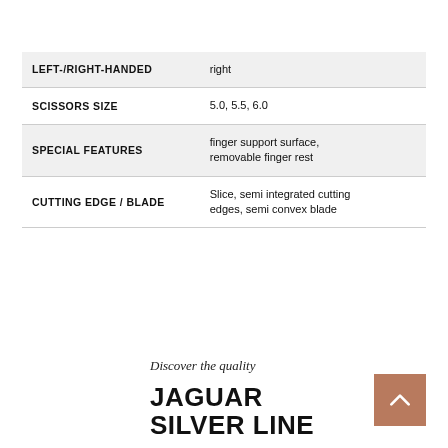|  |  |
| --- | --- |
| LEFT-/RIGHT-HANDED | right |
| SCISSORS SIZE | 5.0, 5.5, 6.0 |
| SPECIAL FEATURES | finger support surface, removable finger rest |
| CUTTING EDGE / BLADE | Slice, semi integrated cutting edges, semi convex blade |
Discover the quality
JAGUAR SILVER LINE